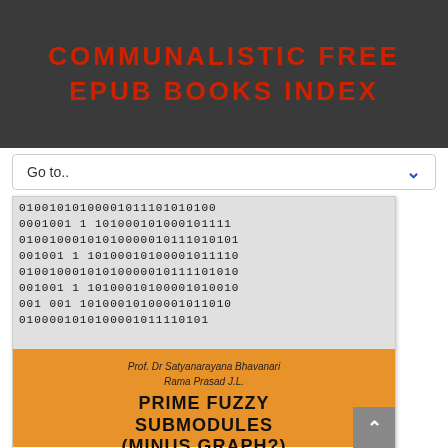COMMUNALISTIC FREE EPUB BOOKS INDEX
Go to..
[Figure (illustration): Book cover image showing binary code digits (0s and 1s) on a grey background in the upper portion, and an orange section below with author names and book title. Authors: Prof. Dr Satyanarayana Bhavanari, Rama Prasad J.L. Book title: PRIME FUZZY SUBMODULES (MINUS GRAPH?)]
Prof. Dr Satyanarayana Bhavanari
Rama Prasad J.L.

PRIME FUZZY SUBMODULES